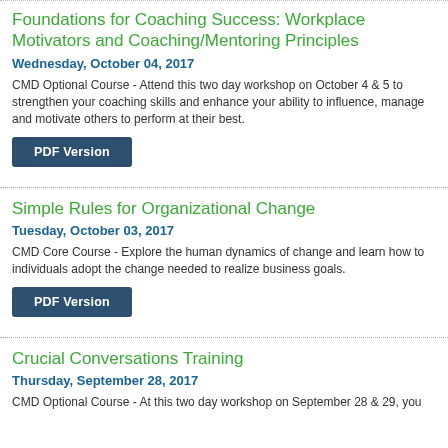Foundations for Coaching Success: Workplace Motivators and Coaching/Mentoring Principles
Wednesday, October 04, 2017
CMD Optional Course - Attend this two day workshop on October 4 & 5 to strengthen your coaching skills and enhance your ability to influence, manage and motivate others to perform at their best.
Simple Rules for Organizational Change
Tuesday, October 03, 2017
CMD Core Course - Explore the human dynamics of change and learn how to individuals adopt the change needed to realize business goals.
Crucial Conversations Training
Thursday, September 28, 2017
CMD Optional Course - At this two day workshop on September 28 & 29, you